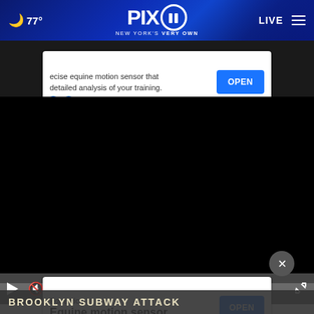[Figure (screenshot): PIX11 news website screenshot showing header with weather (moon icon, 77°), PIX11 logo ('NEW YORK'S VERY OWN'), LIVE button, hamburger menu, an advertisement banner for Equestic equine motion sensor with OPEN button, a black video player area, video controls, a second Equestic ad overlay with OPEN button, and a ticker at the bottom reading 'BROOKLYN SUBWAY ATTACK']